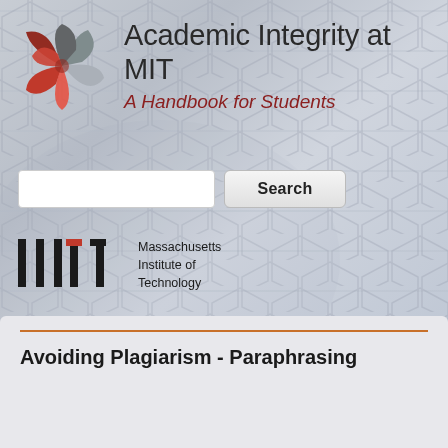[Figure (logo): MIT flower/pinwheel logo in red and grey tones]
Academic Integrity at MIT
A Handbook for Students
[Figure (other): Search input box and Search button]
[Figure (logo): MIT logo — vertical bar pattern spelling MIT — with text 'Massachusetts Institute of Technology']
Avoiding Plagiarism - Paraphrasing